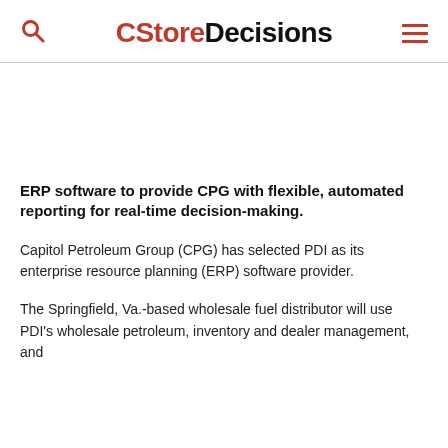CStoreDecisions
ERP software to provide CPG with flexible, automated reporting for real-time decision-making.
Capitol Petroleum Group (CPG) has selected PDI as its enterprise resource planning (ERP) software provider.
The Springfield, Va.-based wholesale fuel distributor will use PDI's wholesale petroleum, inventory and dealer management, and